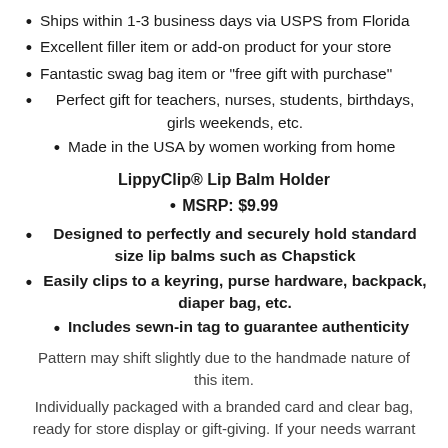Ships within 1-3 business days via USPS from Florida
Excellent filler item or add-on product for your store
Fantastic swag bag item or "free gift with purchase"
Perfect gift for teachers, nurses, students, birthdays, girls weekends, etc.
Made in the USA by women working from home
LippyClip® Lip Balm Holder
MSRP: $9.99
Designed to perfectly and securely hold standard size lip balms such as Chapstick
Easily clips to a keyring, purse hardware, backpack, diaper bag, etc.
Includes sewn-in tag to guarantee authenticity
Pattern may shift slightly due to the handmade nature of this item.
Individually packaged with a branded card and clear bag, ready for store display or gift-giving. If your needs warrant